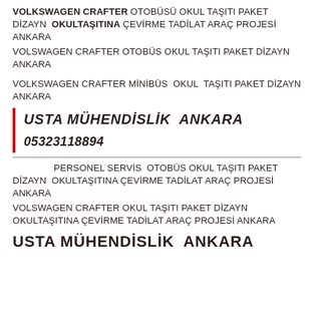VOLKSWAGEN CRAFTER OTOBÜSÜ OKUL TAŞITI PAKET DİZAYN  OKULTAŞITINA ÇEVİRME TADİLAT ARAÇ PROJESİ ANKARA
VOLSWAGEN CRAFTER OTOBÜS OKUL TAŞITI PAKET DİZAYN ANKARA
VOLKSWAGEN CRAFTER MİNİBÜS  OKUL  TAŞITI PAKET DİZAYN ANKARA
USTA MÜHENDİSLİK  ANKARA
05323118894
PERSONEL SERVİS  OTOBÜS OKUL TAŞITI PAKET DİZAYN  OKULTAŞITINA ÇEVİRME TADİLAT ARAÇ PROJESİ ANKARA
VOLSWAGEN CRAFTER OKUL TAŞITI PAKET DİZAYN OKULTAŞITINA ÇEVİRME TADİLAT ARAÇ PROJESİ ANKARA
USTA MÜHENDİSLİK  ANKARA